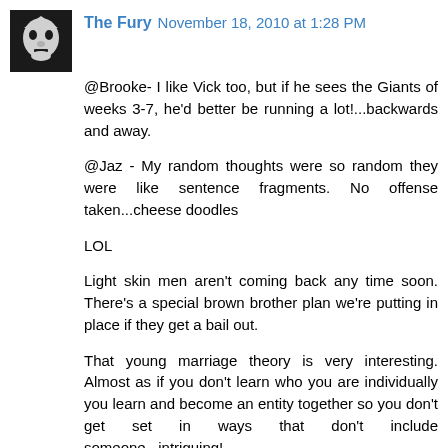The Fury November 18, 2010 at 1:28 PM
@Brooke- I like Vick too, but if he sees the Giants of weeks 3-7, he'd better be running a lot!...backwards and away.
@Jaz - My random thoughts were so random they were like sentence fragments. No offense taken...cheese doodles
LOL
Light skin men aren't coming back any time soon. There's a special brown brother plan we're putting in place if they get a bail out.
That young marriage theory is very interesting. Almost as if you don't learn who you are individually you learn and become an entity together so you don't get set in ways that don't include someone...intriguing!
The Walking Dead is way better than I thought it would be. I was forced to check it out by some friends and actually like it.